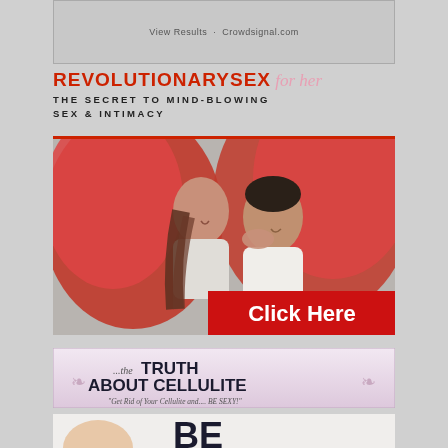[Figure (screenshot): Poll widget showing 'View Results · Crowdsignal.com' text on gray background]
[Figure (advertisement): Revolutionary Sex for Her ad — red and black bold text 'REVOLUTIONARYSEX for her THE SECRET TO MIND-BLOWING SEX & INTIMACY']
[Figure (photo): Couple under red blanket smiling at each other, with 'Click Here' red button overlay]
[Figure (advertisement): Truth About Cellulite banner — lavender background with text '...the TRUTH ABOUT CELLULITE Get Rid of Your Cellulite and.... BE SEXY!']
[Figure (photo): Partial bottom image showing top of woman's head and large bold text 'BE']